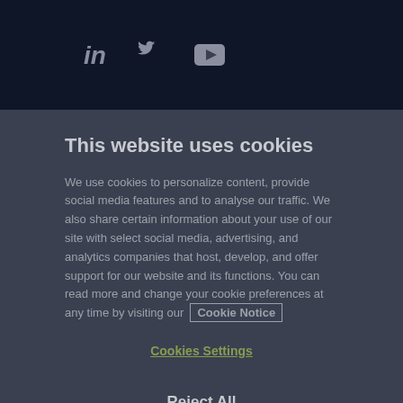LinkedIn Twitter YouTube social icons
This website uses cookies
We use cookies to personalize content, provide social media features and to analyse our traffic. We also share certain information about your use of our site with select social media, advertising, and analytics companies that host, develop, and offer support for our website and its functions. You can read more and change your cookie preferences at any time by visiting our Cookie Notice
Cookies Settings
Reject All
Accept All Cookies